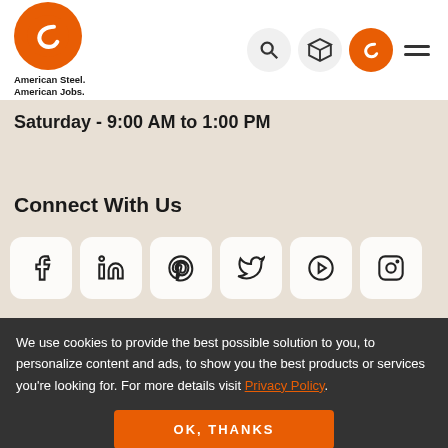[Figure (logo): CMC American Steel American Jobs logo with orange circle and C letter]
Saturday - 9:00 AM to 1:00 PM
Connect With Us
[Figure (infographic): Social media icons: Facebook, LinkedIn, Pinterest, Twitter, YouTube, Instagram]
We use cookies to provide the best possible solution to you, to personalize content and ads, to show you the best products or services you're looking for. For more details visit Privacy Policy.
OK, THANKS
(980) 277-3113